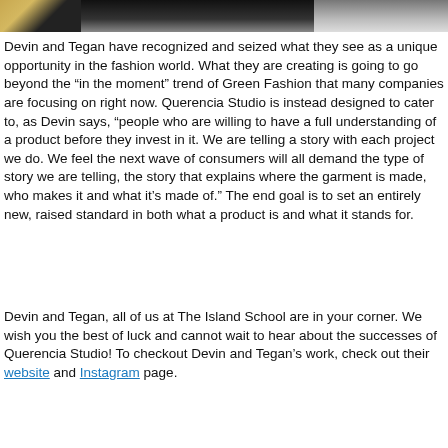[Figure (photo): Partial photo showing a person in dark clothing with a light sandy/beach background on the right side.]
Devin and Tegan have recognized and seized what they see as a unique opportunity in the fashion world. What they are creating is going to go beyond the “in the moment” trend of Green Fashion that many companies are focusing on right now. Querencia Studio is instead designed to cater to, as Devin says, “people who are willing to have a full understanding of a product before they invest in it. We are telling a story with each project we do. We feel the next wave of consumers will all demand the type of story we are telling, the story that explains where the garment is made, who makes it and what it’s made of.” The end goal is to set an entirely new, raised standard in both what a product is and what it stands for.
Devin and Tegan, all of us at The Island School are in your corner. We wish you the best of luck and cannot wait to hear about the successes of Querencia Studio! To checkout Devin and Tegan’s work, check out their website and Instagram page.